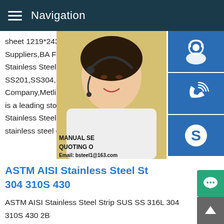Navigation
sheet 1219*2438mm ,SS 304 plate BA Fin Suppliers,BA Finish SS CoilDescription Br Stainless Steel Coils Suppliers,Manufactu SS201,SS304,SS316,SS430.An ISO 9001 Company,Metline Industries (Steel Plates, is a leading stockholder,supplier and expo Stainless Steel Coils,with or without PVC c stainless steel coils are cut to your
[Figure (photo): Woman with headset/phone operator photo with three blue icon buttons on right (headset/customer service, phone, Skype). Overlay text: MANUAL SE, QUOTING O, Email: bsteel1@163.com]
ASTM AISI Stainless Steel St 304 310S 430
ASTM AISI Stainless Steel Strip SUS SS 316L 304 310S 430 2B BA Width 5mm ~ 600mm.Description HAOSTEEL has different material grades of stainless steel strip,provide very comprehe stainless steel products for you,you can find the complete specifications,the quality of the products with high performanc